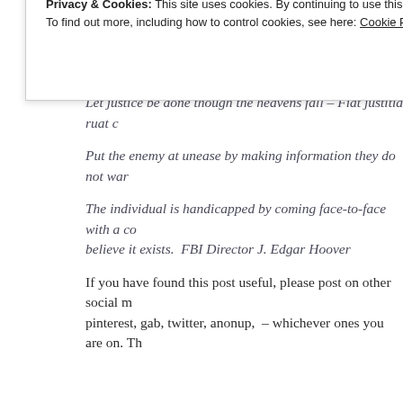Only the small secrets need to be protected, the large ones are k… Marshall McLuhan
Let justice be done though the heavens fall – Fiat justitia ruat c…
Put the enemy at unease by making information they do not war…
The individual is handicapped by coming face-to-face with a co… believe it exists.  FBI Director J. Edgar Hoover
If you have found this post useful, please post on other social m… pinterest, gab, twitter, anonup, – whichever ones you are on. Th…
Privacy & Cookies: This site uses cookies. By continuing to use this website, you agree to their use.
To find out more, including how to control cookies, see here: Cookie Policy
Close and accept